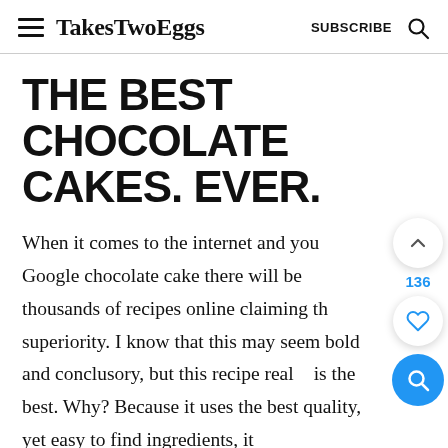TakesTwoEggs  SUBSCRIBE
THE BEST CHOCOLATE CAKES. EVER.
When it comes to the internet and you Google chocolate cake there will be thousands of recipes online claiming their superiority. I know that this may seem bold and conclusory, but this recipe really is the best. Why? Because it uses the best quality, yet easy to find ingredients, it